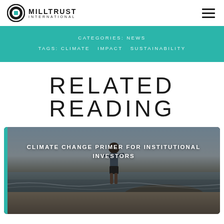MILLTRUST INTERNATIONAL
CATEGORIES: NEWS
TAGS: CLIMATE  IMPACT  SUSTAINABILITY
RELATED READING
[Figure (photo): Child standing on coastal rocks with ocean waves in the background, photo used as card image for article about Climate Change Primer for Institutional Investors]
CLIMATE CHANGE PRIMER FOR INSTITUTIONAL INVESTORS